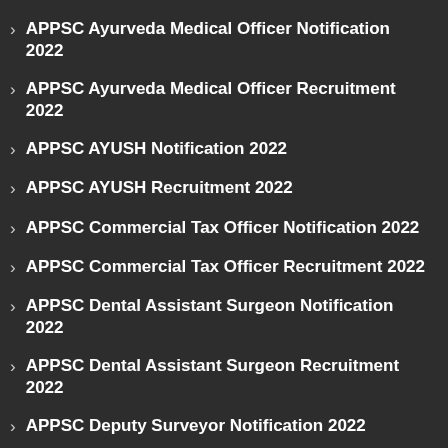APPSC Ayurveda Medical Officer Notification 2022
APPSC Ayurveda Medical Officer Recruitment 2022
APPSC AYUSH Notification 2022
APPSC AYUSH Recruitment 2022
APPSC Commercial Tax Officer Notification 2022
APPSC Commercial Tax Officer Recruitment 2022
APPSC Dental Assistant Surgeon Notification 2022
APPSC Dental Assistant Surgeon Recruitment 2022
APPSC Deputy Surveyor Notification 2022
APPSC Deputy Surveyor Recruitment 2022
APPSC Deputy Tahsildar Notification 2022
APPSC Deputy Tahsildar Recruitment 2022
APPSC District Social Welfare Officer Notification 2022